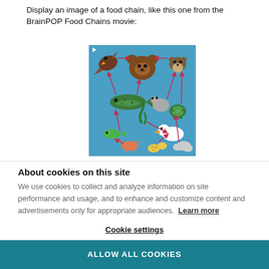Display an image of a food chain, like this one from the BrainPOP Food Chains movie:
[Figure (illustration): Colorful cartoon food chain illustration on a blue background showing various animals including a hawk, bear, otter/marmot, fish, mouse, turtle, duck, small green fish, seaweed, shrimp/crab, corn/grain, and a cloud, connected by pink/red arrows indicating feeding relationships.]
About cookies on this site
We use cookies to collect and analyze information on site performance and usage, and to enhance and customize content and advertisements only for appropriate audiences. Learn more
Cookie settings
ALLOW ALL COOKIES